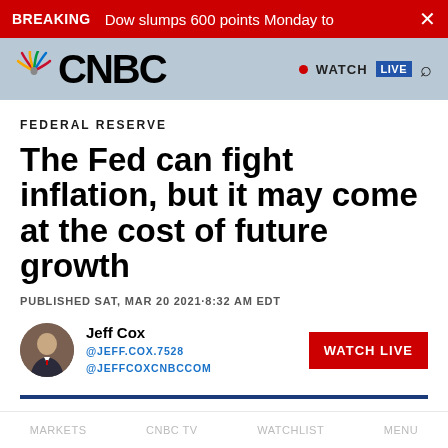BREAKING  Dow slumps 600 points Monday to  ×
[Figure (logo): CNBC logo with NBC peacock in the header bar]
FEDERAL RESERVE
The Fed can fight inflation, but it may come at the cost of future growth
PUBLISHED SAT, MAR 20 2021·8:32 AM EDT
Jeff Cox
@JEFF.COX.7528
@JEFFCOXCNBCCOM
MARKETS   CNBC TV   WATCHLIST   MENU